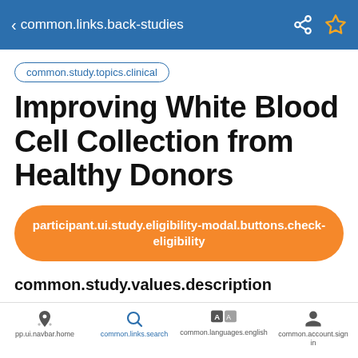common.links.back-studies
common.study.topics.clinical
Improving White Blood Cell Collection from Healthy Donors
participant.ui.study.eligibility-modal.buttons.check-eligibility
common.study.values.description
“Improving White Blood Cell Collection From Healthy Donors”
pp.ui.navbar.home  common.links.search  common.languages.english  common.account.sign in